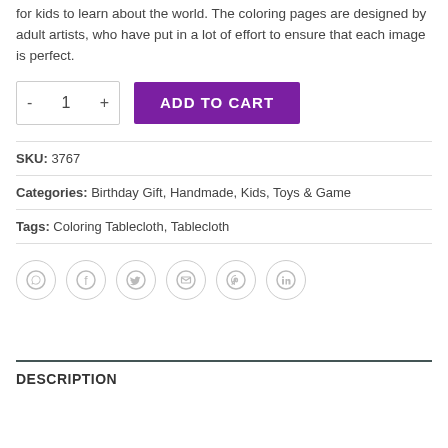for kids to learn about the world. The coloring pages are designed by adult artists, who have put in a lot of effort to ensure that each image is perfect.
[Figure (other): Add to cart UI: quantity selector with minus, 1, plus buttons and a purple ADD TO CART button]
SKU: 3767
Categories: Birthday Gift, Handmade, Kids, Toys & Game
Tags: Coloring Tablecloth, Tablecloth
[Figure (other): Social share icons row: WhatsApp, Facebook, Twitter, Email, Pinterest, LinkedIn — all grey circle icons]
DESCRIPTION